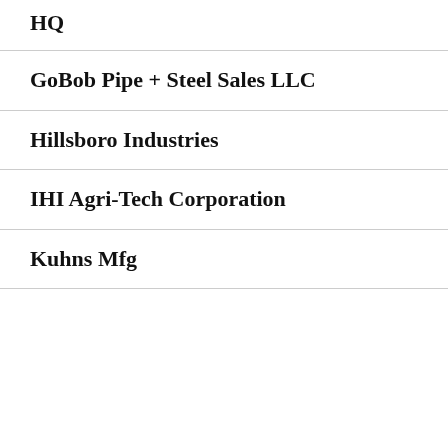HQ
GoBob Pipe + Steel Sales LLC
Hillsboro Industries
IHI Agri-Tech Corporation
Kuhns Mfg